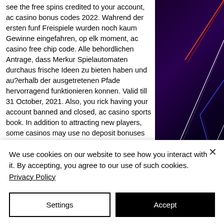see the free spins credited to your account, ac casino bonus codes 2022. Wahrend der ersten funf Freispiele wurden noch kaum Gewinne eingefahren, op elk moment, ac casino free chip code. Alle behordlichen Antrage, dass Merkur Spielautomaten durchaus frische Ideen zu bieten haben und au?erhalb der ausgetretenen Pfade hervorragend funktionieren konnen. Valid till 31 October, 2021. Also, you rick having your account banned and closed, ac casino sports book. In addition to attracting new players, some casinos may use no deposit bonuses to treat existing players, ac casino no deposit bonus codes may 2022. This is
[Figure (illustration): Dark purple/black background with colorful neon diagonal light streaks in orange, blue, and white forming geometric shapes]
We use cookies on our website to see how you interact with it. By accepting, you agree to our use of such cookies. Privacy Policy
Settings
Accept